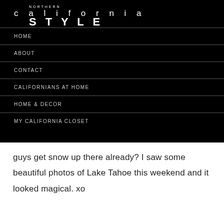NORTHERN california STYLE
HOME
ABOUT
CONTACT
CALIFORNIANS AT HOME
HOME & DECOR
MY CALIFORNIA CLOSET
guys get snow up there already? I saw some beautiful photos of Lake Tahoe this weekend and it looked magical. xo